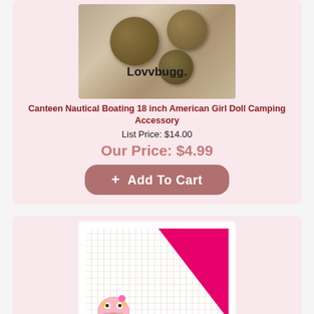[Figure (photo): Product image of Canteen Nautical Boating camping accessory with 'Lovvbugg.' watermark]
Canteen Nautical Boating 18 inch American Girl Doll Camping Accessory
List Price: $14.00
Our Price: $4.99
+ Add To Cart
[Figure (photo): Hello Kitty sleeping bag product image showing colorful polka dot pattern exterior with bright pink/magenta satin interior lining folded back]